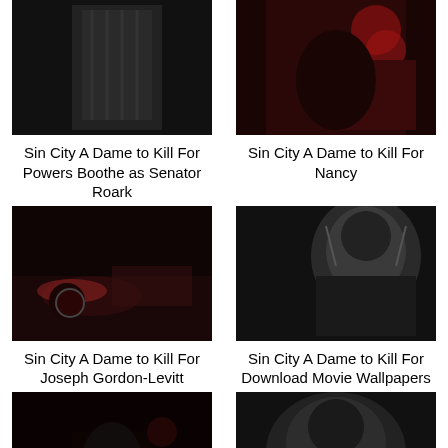[Figure (photo): Sin City A Dame to Kill For - Powers Boothe as Senator Roark, black and white styled image]
Sin City A Dame to Kill For Powers Boothe as Senator Roark
[Figure (photo): Sin City A Dame to Kill For - Nancy, dark red toned image]
Sin City A Dame to Kill For Nancy
[Figure (photo): Sin City A Dame to Kill For - Joseph Gordon-Levitt, dark reddish racecar scene]
Sin City A Dame to Kill For Joseph Gordon-Levitt
[Figure (photo): Sin City A Dame to Kill For - Download Movie Wallpapers, close up face black and white]
Sin City A Dame to Kill For Download Movie Wallpapers
[Figure (photo): Sin City A Dame to Kill For - dark scene with figure and motorcycle]
Sin City A Dame to Kill For
[Figure (photo): Sin City A Dame to Kill For - man at steering wheel black and white]
Sin City A Dame to Kill For